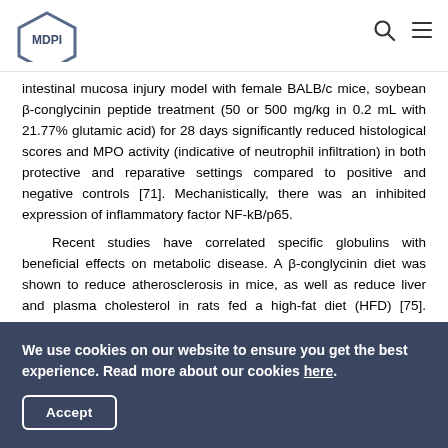MDPI [logo] [search icon] [menu icon]
intestinal mucosa injury model with female BALB/c mice, soybean β-conglycinin peptide treatment (50 or 500 mg/kg in 0.2 mL with 21.77% glutamic acid) for 28 days significantly reduced histological scores and MPO activity (indicative of neutrophil infiltration) in both protective and reparative settings compared to positive and negative controls [71]. Mechanistically, there was an inhibited expression of inflammatory factor NF-kB/p65.
Recent studies have correlated specific globulins with beneficial effects on metabolic disease. A β-conglycinin diet was shown to reduce atherosclerosis in mice, as well as reduce liver and plasma cholesterol in rats fed a high-fat diet (HFD) [75]. Dietary soy glycinin protein has also been shown to prevent
We use cookies on our website to ensure you get the best experience. Read more about our cookies here.
Accept